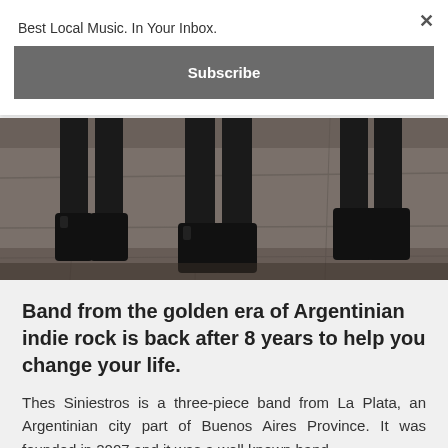Best Local Music. In Your Inbox.
Subscribe
[Figure (photo): Close-up photo showing the legs and boots of three people standing on an old stone or concrete pavement. All wearing dark clothing and dark boots.]
Band from the golden era of Argentinian indie rock is back after 8 years to help you change your life.
Thes Siniestros is a three-piece band from La Plata, an Argentinian city part of Buenos Aires Province. It was founded in 2007 and it was a well known band